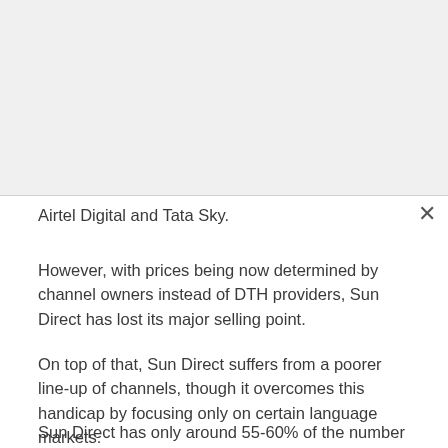Airtel Digital and Tata Sky.
However, with prices being now determined by channel owners instead of DTH providers, Sun Direct has lost its major selling point.
On top of that, Sun Direct suffers from a poorer line-up of channels, though it overcomes this handicap by focusing only on certain language markets.
Sun Direct has only around 55-60% of the number of channels offered by a player like Tata Sky. Without a pricing difference to set the two apart, it risked being pushed to a corner by heavyweights like Tata Sky and Airtel Digital.